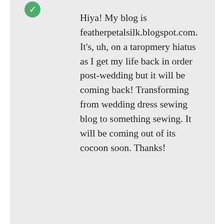Hiya! My blog is featherpetalsilk.blogspot.com. It's, uh, on a taropmery hiatus as I get my life back in order post-wedding but it will be coming back! Transforming from wedding dress sewing blog to something sewing. It will be coming out of its cocoon soon. Thanks!
★ Like
👍 1 👎 0 ℹ Rate This
↪ Reply
Advertisements
Advertisements
ThePlatform Where WordPress Works Best   Pressable